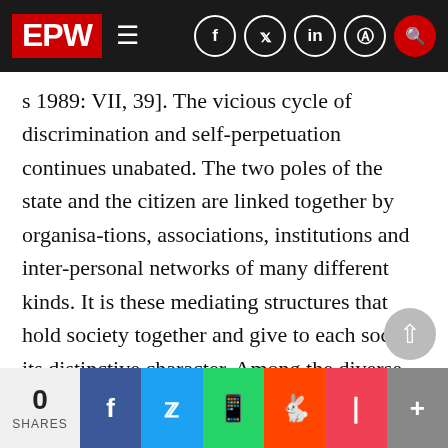EPW
s 1989: VII, 39]. The vicious cycle of discrimination and self-perpetuation continues unabated. The two poles of the state and the citizen are linked together by organisa-tions, associations, institutions and inter-personal networks of many different kinds. It is these mediating structures that hold society together and give to each society its distinctive character. Among the diverse arrangements, I would like to single out those that I describe as institu-tions. An institution is a social arrange-ment with a distinct identity, a distinct internal structure and cultu and a life span extending beyond the lives of it
0 SHARES